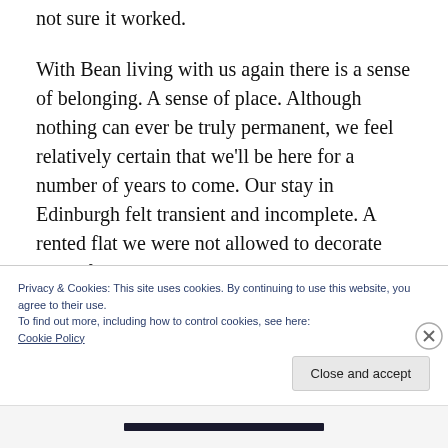not sure it worked.
With Bean living with us again there is a sense of belonging. A sense of place. Although nothing can ever be truly permanent, we feel relatively certain that we'll be here for a number of years to come. Our stay in Edinburgh felt transient and incomplete. A rented flat we were not allowed to decorate didn't feel like home. We are living in a home now, and that's an important step on getting our life back on
Privacy & Cookies: This site uses cookies. By continuing to use this website, you agree to their use.
To find out more, including how to control cookies, see here:
Cookie Policy
Close and accept